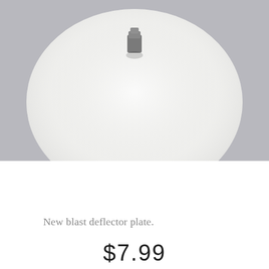[Figure (photo): A round white blast deflector plate viewed from above, with a small grey connector/fitting at the center, on a grey background.]
New blast deflector plate.
$7.99